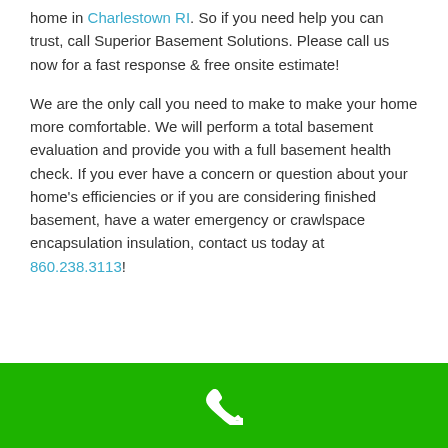home in Charlestown RI. So if you need help you can trust, call Superior Basement Solutions. Please call us now for a fast response & free onsite estimate!
We are the only call you need to make to make your home more comfortable. We will perform a total basement evaluation and provide you with a full basement health check. If you ever have a concern or question about your home's efficiencies or if you are considering finished basement, have a water emergency or crawlspace encapsulation insulation, contact us today at 860.238.3113!
[Figure (illustration): Green footer bar with white phone handset icon centered]